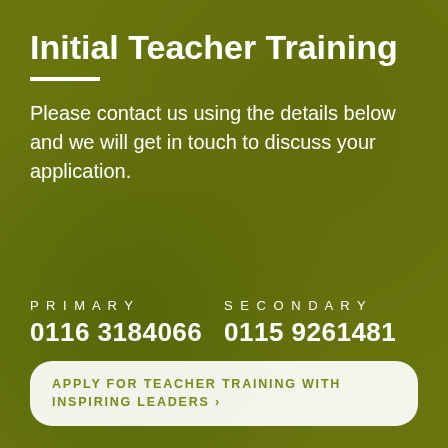Initial Teacher Training
Please contact us using the details below and we will get in touch to discuss your application.
PRIMARY
0116 3184066
SECONDARY
0115 9261481
APPLY FOR TEACHER TRAINING WITH INSPIRING LEADERS ›